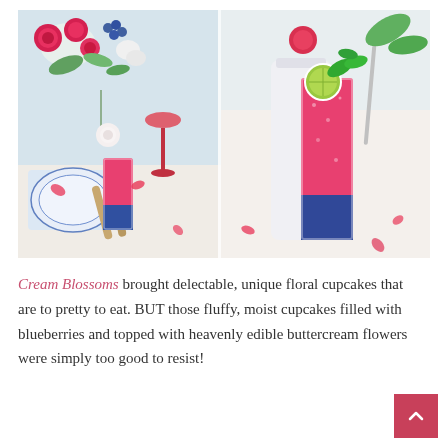[Figure (photo): Two side-by-side photos: left shows a floral table arrangement with red roses, blueberries, white flowers, and a pink drink in a tall glass; right shows a close-up of the pink/blueberry layered drink in a tall glass garnished with lime and mint leaves.]
Cream Blossoms brought delectable, unique floral cupcakes that are to pretty to eat. BUT those fluffy, moist cupcakes filled with blueberries and topped with heavenly edible buttercream flowers were simply too good to resist!